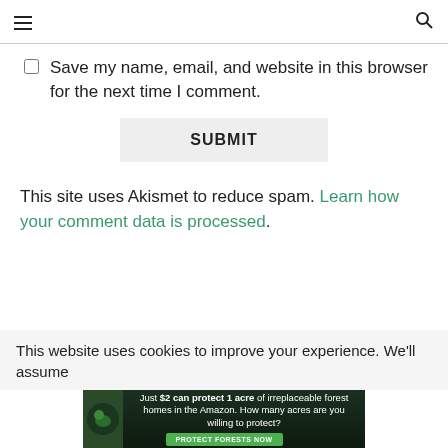☰   🔍
Save my name, email, and website in this browser for the next time I comment.
SUBMIT
This site uses Akismet to reduce spam. Learn how your comment data is processed.
This website uses cookies to improve your experience. We'll assume
[Figure (other): Ad banner: Just $2 can protect 1 acre of irreplaceable forest homes in the Amazon. How many acres are you willing to protect? PROTECT FORESTS NOW]